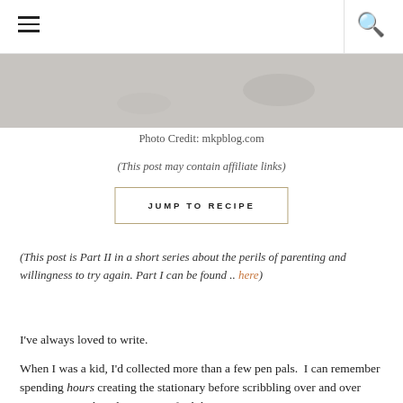Navigation header with hamburger menu and search icon
[Figure (photo): Partial view of a food/recipe photo with a gray-toned background, bottom portion visible]
Photo Credit: mkpblog.com
(This post may contain affiliate links)
JUMP TO RECIPE
(This post is Part II in a short series about the perils of parenting and willingness to try again. Part I can be found .. here)
I've always loved to write.
When I was a kid, I'd collected more than a few pen pals.  I can remember spending hours creating the stationary before scribbling over and over again on scratch pads, trying to find the